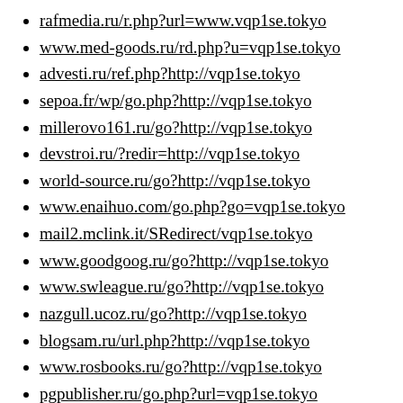rafmedia.ru/r.php?url=www.vqp1se.tokyo
www.med-goods.ru/rd.php?u=vqp1se.tokyo
advesti.ru/ref.php?http://vqp1se.tokyo
sepoa.fr/wp/go.php?http://vqp1se.tokyo
millerovo161.ru/go?http://vqp1se.tokyo
devstroi.ru/?redir=http://vqp1se.tokyo
world-source.ru/go?http://vqp1se.tokyo
www.enaihuo.com/go.php?go=vqp1se.tokyo
mail2.mclink.it/SRedirect/vqp1se.tokyo
www.goodgoog.ru/go?http://vqp1se.tokyo
www.swleague.ru/go?http://vqp1se.tokyo
nazgull.ucoz.ru/go?http://vqp1se.tokyo
blogsam.ru/url.php?http://vqp1se.tokyo
www.rosbooks.ru/go?http://vqp1se.tokyo
pgpublisher.ru/go.php?url=vqp1se.tokyo
for-css.ucoz.ae/go?http://vqp1se.tokyo
infosort.ru/go?url=http://vqp1se.tokyo
pavon.kz/proxy?url=http://vqp1se.tokyo
anonymize-me.de/?t=http://vqp1se.tokyo